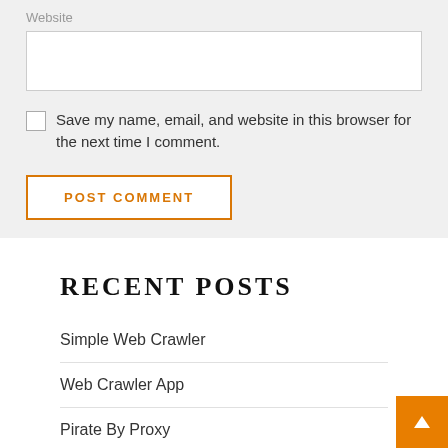Website
Save my name, email, and website in this browser for the next time I comment.
POST COMMENT
RECENT POSTS
Simple Web Crawler
Web Crawler App
Pirate By Proxy